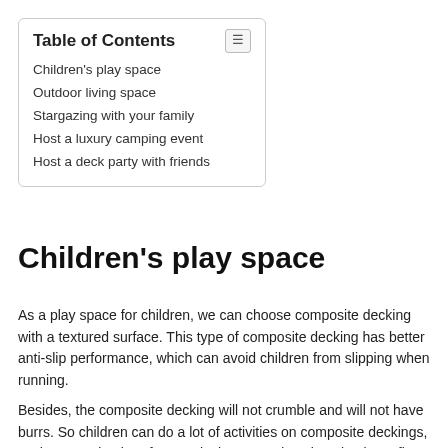| Table of Contents |
| --- |
| Children's play space |
| Outdoor living space |
| Stargazing with your family |
| Host a luxury camping event |
| Host a deck party with friends |
Children's play space
As a play space for children, we can choose composite decking with a textured surface. This type of composite decking has better anti-slip performance, which can avoid children from slipping when running.
Besides, the composite decking will not crumble and will not have burrs. So children can do a lot of activities on composite deckings, such as running barefoot or playing around. A clean laminate floor is also a good place for them to play games. The